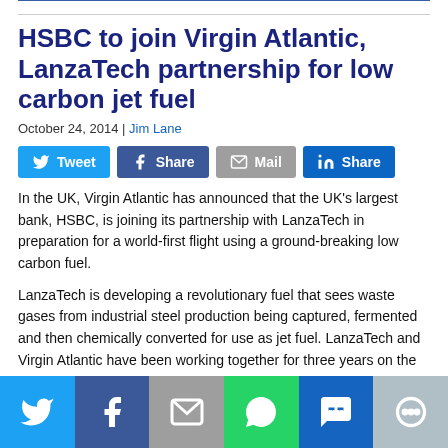HSBC to join Virgin Atlantic, LanzaTech partnership for low carbon jet fuel
October 24, 2014 | Jim Lane
[Figure (infographic): Social sharing buttons: Tweet, Share (Facebook), Mail, Share (LinkedIn)]
In the UK, Virgin Atlantic has announced that the UK's largest bank, HSBC, is joining its partnership with LanzaTech in preparation for a world-first flight using a ground-breaking low carbon fuel.
LanzaTech is developing a revolutionary fuel that sees waste gases from industrial steel production being captured, fermented and then chemically converted for use as jet fuel. LanzaTech and Virgin Atlantic have been working together for three years on the fuel's development, but the addition of HSBC's vital support to the partnership, along with Boeing and other technical partners, means a proving flight of the new technology will take place within the next year.
Social share bar: Twitter, Facebook, Mail, WhatsApp, SMS, More